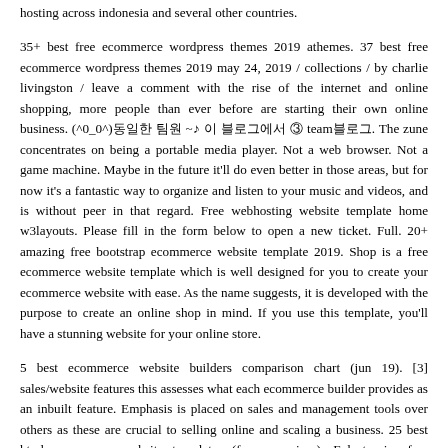field of net service services, namely net domain hosting and net style. Plasa hosting currently manages thousands of iranian language client domains and hosting across indonesia and several other countries.
35+ best free ecommerce wordpress themes 2019 athemes. 37 best free ecommerce wordpress themes 2019 may 24, 2019 / collections / by charlie livingston / leave a comment with the rise of the internet and online shopping, more people than ever before are starting their own online business. (^0_0^)동일한 팀원 ~♪ 이 블로그에서 ③ team블로그. The zune concentrates on being a portable media player. Not a web browser. Not a game machine. Maybe in the future it'll do even better in those areas, but for now it's a fantastic way to organize and listen to your music and videos, and is without peer in that regard. Free webhosting website template home w3layouts. Please fill in the form below to open a new ticket. Full. 20+ amazing free bootstrap ecommerce website template 2019. Shop is a free ecommerce website template which is well designed for you to create your ecommerce website with ease. As the name suggests, it is developed with the purpose to create an online shop in mind. If you use this template, you'll have a stunning website for your online store.
5 best ecommerce website builders comparison chart (jun 19). [3] sales/website features this assesses what each ecommerce builder provides as an inbuilt feature. Emphasis is placed on sales and management tools over others as these are crucial to selling online and scaling a business. 25 best html ecommerce website templates (free, premium). Eelectronics free ecommerce website template. Eelectronics is a free html template for ecommerce platform with excellent product pages and link hierarchy which lets you access related products, categories from all pages. Demo download. Rimbus the